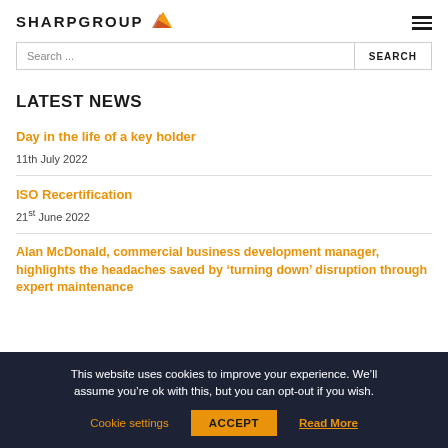SHARPGROUP
Search ...
LATEST NEWS
Day in the life of a key holder
11th July 2022
ISO Recertification
21st June 2022
Alan McDonald, commercial business development manager, highlights the headaches saved by ‘turning down’ disruption through expert maintenance
This website uses cookies to improve your experience. We’ll assume you’re ok with this, but you can opt-out if you wish.
Cookie settings  ACCEPT  Read More